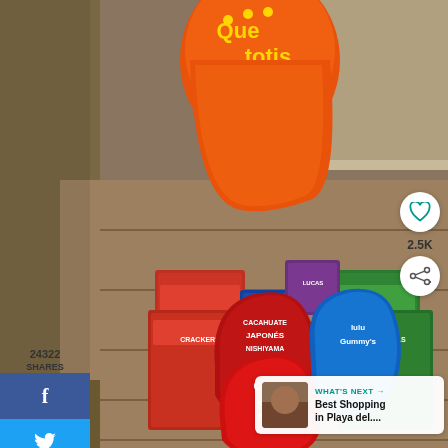[Figure (photo): A collection of Mexican candy and snacks arranged on a wooden picnic table outdoors. Items include: Que Totis (orange puffed corn snack bag), Cacahuates Japoneses Nishiyama (Japanese peanuts), Lulu Gummy's (gummy candy bag), Canels Cherry Sours (red gum/candy bag), and several packages of what appear to be cookie/cracker sticks in red and green packaging.]
24322
SHARES
f
t
p
2.5K
WHAT'S NEXT → Best Shopping in Playa del....